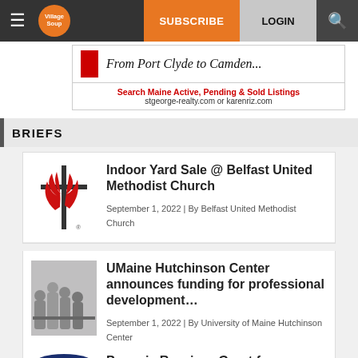Village Soup | SUBSCRIBE | LOGIN
[Figure (screenshot): Village Soup website navigation bar with hamburger menu, Village Soup orange logo, Subscribe button, Login button, and search icon]
[Figure (illustration): Advertisement banner: From Port Clyde to Camden... Search Maine Active, Pending & Sold Listings stgeorge-realty.com or karenriz.com]
BRIEFS
Indoor Yard Sale @ Belfast United Methodist Church
September 1, 2022 | By Belfast United Methodist Church
UMaine Hutchinson Center announces funding for professional development…
September 1, 2022 | By University of Maine Hutchinson Center
Penquis Receives Grant from